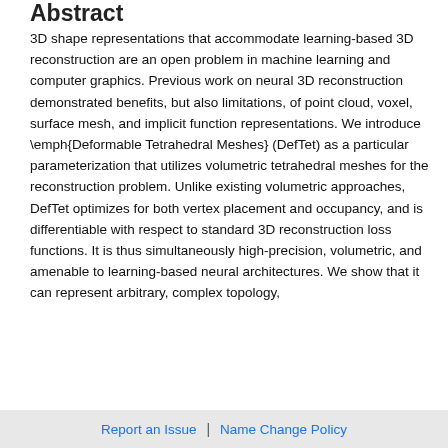Abstract
3D shape representations that accommodate learning-based 3D reconstruction are an open problem in machine learning and computer graphics. Previous work on neural 3D reconstruction demonstrated benefits, but also limitations, of point cloud, voxel, surface mesh, and implicit function representations. We introduce \emph{Deformable Tetrahedral Meshes} (DefTet) as a particular parameterization that utilizes volumetric tetrahedral meshes for the reconstruction problem. Unlike existing volumetric approaches, DefTet optimizes for both vertex placement and occupancy, and is differentiable with respect to standard 3D reconstruction loss functions. It is thus simultaneously high-precision, volumetric, and amenable to learning-based neural architectures. We show that it can represent arbitrary, complex topology,
Report an Issue  |  Name Change Policy